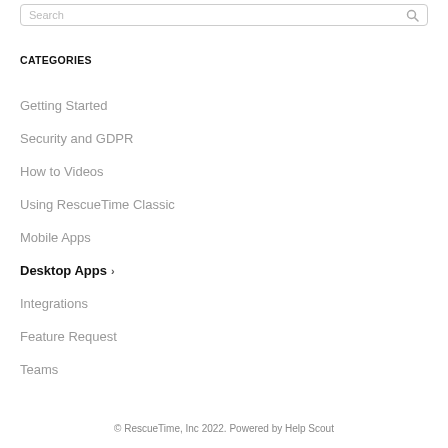[Figure (other): Search input box with placeholder text 'Search' and a search icon]
CATEGORIES
Getting Started
Security and GDPR
How to Videos
Using RescueTime Classic
Mobile Apps
Desktop Apps
Integrations
Feature Request
Teams
© RescueTime, Inc 2022. Powered by Help Scout